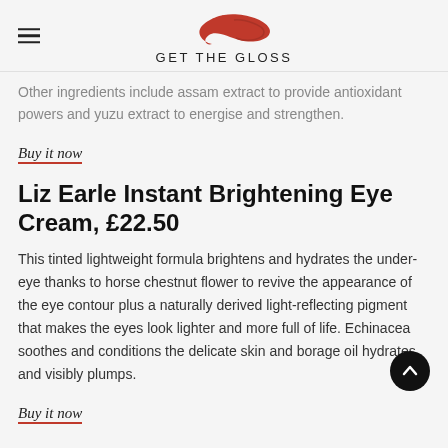GET THE GLOSS
Other ingredients include assam extract to provide antioxidant powers and yuzu extract to energise and strengthen.
Buy it now
Liz Earle Instant Brightening Eye Cream, £22.50
This tinted lightweight formula brightens and hydrates the under-eye thanks to horse chestnut flower to revive the appearance of the eye contour plus a naturally derived light-reflecting pigment that makes the eyes look lighter and more full of life. Echinacea soothes and conditions the delicate skin and borage oil hydrates and visibly plumps.
Buy it now